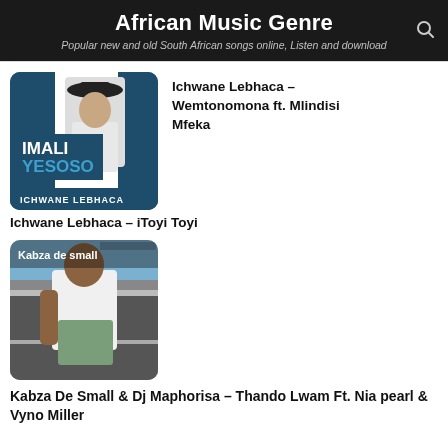African Music Genre
Popular new and old South African songs online, Listen and download
[Figure (photo): Album cover for Ichwane Lebhaca – Imali Yesoso, featuring a man in a hat against a blue background with the text IMALI YESOSO and ICHWANE LEBHACA]
Ichwane Lebhaca – Wemtonomona ft. Mlindisi Mfeka
Ichwane Lebhaca – iToyi Toyi
[Figure (photo): Photo of Kabza de small sitting in a car doorway, wearing a white t-shirt and shorts, with the text 'Kabza de small' overlaid]
Kabza De Small & Dj Maphorisa – Thando Lwam Ft. Nia pearl & Vyno Miller